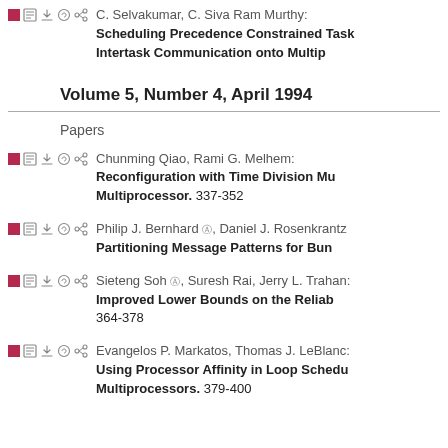C. Selvakumar, C. Siva Ram Murthy: Scheduling Precedence Constrained Tasks with Intertask Communication onto Multiprocessors. 326-32
Volume 5, Number 4, April 1994
Papers
Chunming Qiao, Rami G. Melhem: Reconfiguration with Time Division Multiplexing MINs on Multiprocessor. 337-352
Philip J. Bernhard, Daniel J. Rosenkrantz: Partitioning Message Patterns for Bun...
Sieteng Soh, Suresh Rai, Jerry L. Trahan: Improved Lower Bounds on the Reliability... 364-378
Evangelos P. Markatos, Thomas J. LeBlanc: Using Processor Affinity in Loop Scheduling on Shared-Memory Multiprocessors. 379-400